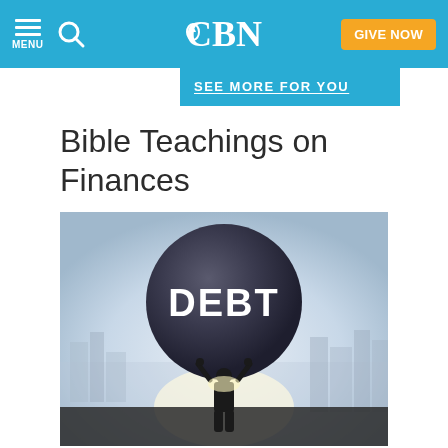CBN | MENU | GIVE NOW
SEE MORE FOR YOU
Bible Teachings on Finances
[Figure (photo): A silhouetted person holding up a large dark sphere/boulder labeled DEBT above their head, with a city skyline in the background and bright light behind the figure.]
Steps to Getting Out of...